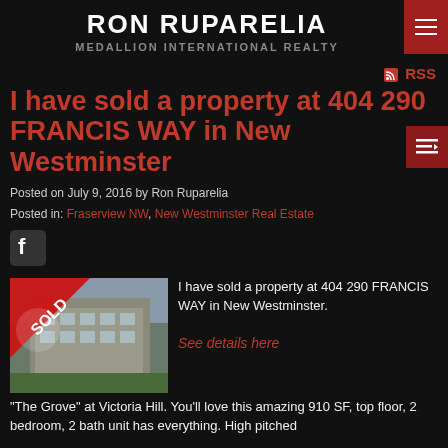RON RUPARELIA
MEDALLION INTERNATIONAL REALTY
RSS
I have sold a property at 404 290 FRANCIS WAY in New Westminster
Posted on July 9, 2016 by Ron Ruparelia
Posted in: Fraserview NW, New Westminster Real Estate
[Figure (photo): Property photo with red SOLD ribbon across the corner. Shows a multi-story condominium building.]
I have sold a property at 404 290 FRANCIS WAY in New Westminster.
See details here
"The Grove" at Victoria Hill. You'll love this amazing 910 SF, top floor, 2 bedroom, 2 bath unit has everything. High pitched